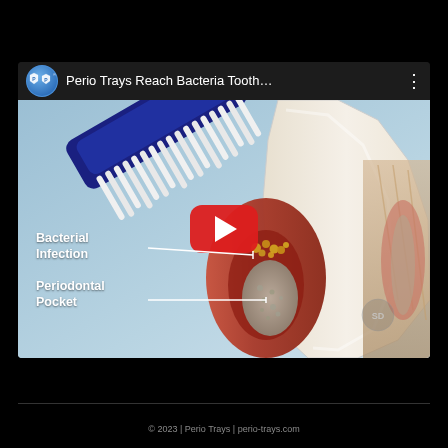[Figure (screenshot): YouTube video thumbnail screenshot showing 'Perio Trays Reach Bacteria Tooth...' with a dental cross-section animation. The thumbnail depicts a toothbrush against a tooth with labels 'Bacterial Infection' and 'Periodontal Pocket' pointing to anatomical structures. A red YouTube play button is centered on the thumbnail. The video is from a channel with a blue shield logo (P P).]